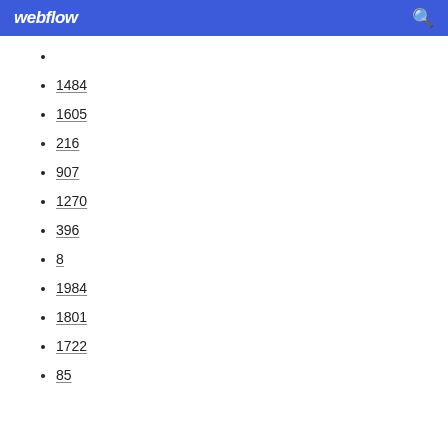webflow
1484
1605
216
907
1270
396
8
1984
1801
1722
85